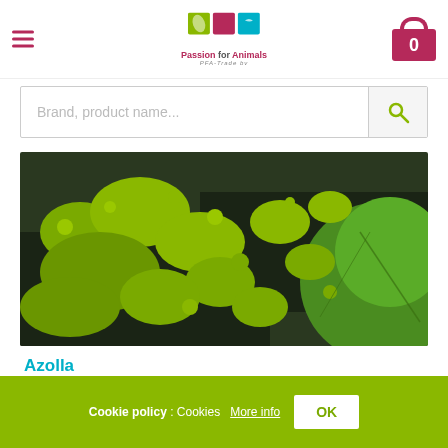Passion for Animals – PFA-Trade bv
Brand, product name...
[Figure (photo): Close-up photo of Azolla (water fern) floating on dark water with large green lily pads visible on the right side]
Azolla
2VSP1655
Cookie policy : Cookies  More info  OK